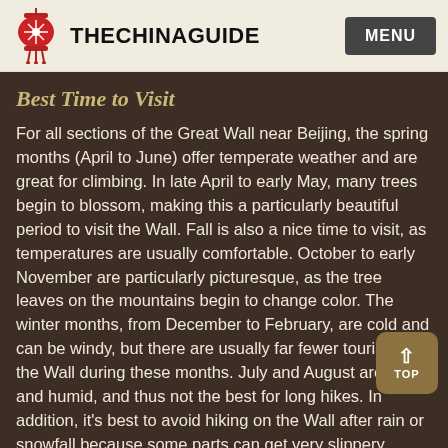TheChinaGuide | MENU
Best Time to Visit
For all sections of the Great Wall near Beijing, the spring months (April to June) offer temperate weather and are great for climbing. In late April to early May, many trees begin to blossom, making this a particularly beautiful period to visit the Wall. Fall is also a nice time to visit, as temperatures are usually comfortable. October to early November are particularly picturesque, as the tree leaves on the mountains begin to change color. The winter months, from December to February, are cold and can be windy, but there are usually far fewer tourists on the Wall during these months. July and August are hot and humid, and thus not the best for long hikes. In addition, it's best to avoid hiking on the Wall after rain or snowfall because some parts can get very slippery.
You should also avoid visiting the popular sections, such as Badaling, Juyongguan, and Mutianyu, around National Day (the first week in October) and Spring Festival. August